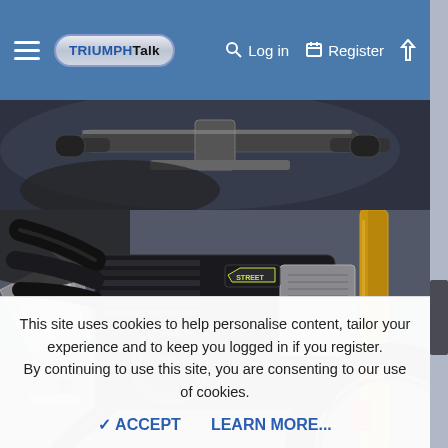TriumphTalk — Log in | Register
[Figure (photo): Close-up photo of Triumph motorcycle handlebars and top section against dark background]
[Figure (photo): Close-up photo of Triumph motorcycle engine, with gold front forks, black exhaust pipes, and Triumph logo on engine cover]
This site uses cookies to help personalise content, tailor your experience and to keep you logged in if you register. By continuing to use this site, you are consenting to our use of cookies.
✓ ACCEPT    LEARN MORE...